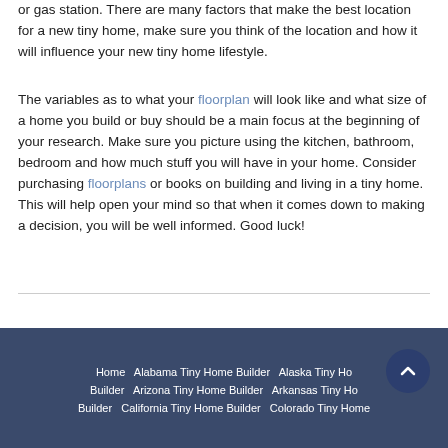or gas station. There are many factors that make the best location for a new tiny home, make sure you think of the location and how it will influence your new tiny home lifestyle.
The variables as to what your floorplan will look like and what size of a home you build or buy should be a main focus at the beginning of your research. Make sure you picture using the kitchen, bathroom, bedroom and how much stuff you will have in your home. Consider purchasing floorplans or books on building and living in a tiny home. This will help open your mind so that when it comes down to making a decision, you will be well informed. Good luck!
Home   Alabama Tiny Home Builder   Alaska Tiny Home Builder   Arizona Tiny Home Builder   Arkansas Tiny Home Builder   California Tiny Home Builder   Colorado Tiny Home